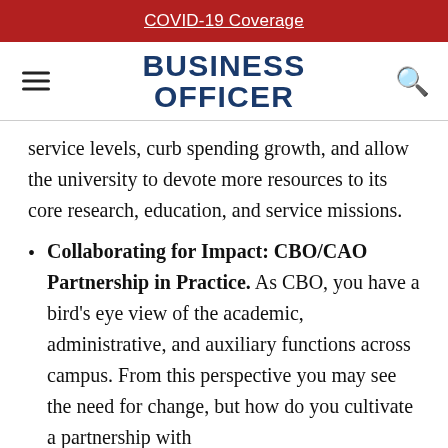COVID-19 Coverage
[Figure (logo): Business Officer magazine logo with hamburger menu and search icon]
service levels, curb spending growth, and allow the university to devote more resources to its core research, education, and service missions.
Collaborating for Impact: CBO/CAO Partnership in Practice. As CBO, you have a bird's eye view of the academic, administrative, and auxiliary functions across campus. From this perspective you may see the need for change, but how do you cultivate a partnership with